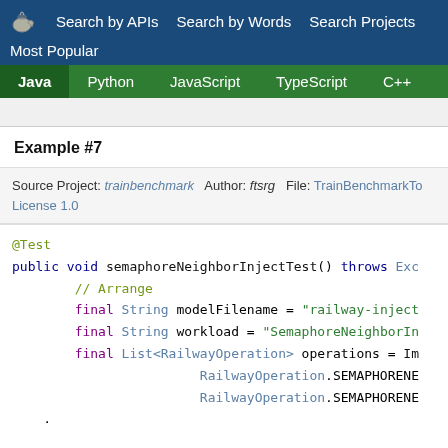Search by APIs  Search by Words  Search Projects  Most Popular
Java  Python  JavaScript  TypeScript  C++  Scala
Example #7
Source Project: trainbenchmark  Author: ftsrg  File: TrainBenchmarkTo...  License 1.0
@Test
public void semaphoreNeighborInjectTest() throws Exc
        // Arrange
        final String modelFilename = "railway-inject...
        final String workload = "SemaphoreNeighborIn...
        final List<RailwayOperation> operations = Im...
                        RailwayOperation.SEMAPHORENE...
                        RailwayOperation.SEMAPHORENE...
        .